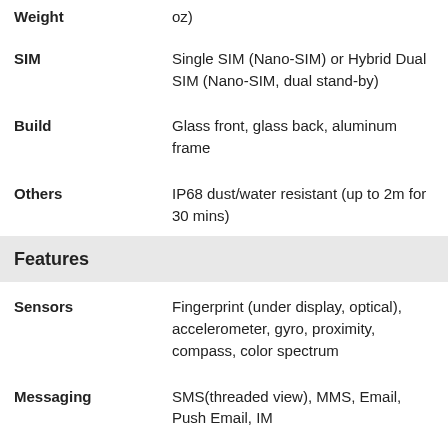| Feature | Value |
| --- | --- |
| Weight | oz) |
| SIM | Single SIM (Nano-SIM) or Hybrid Dual SIM (Nano-SIM, dual stand-by) |
| Build | Glass front, glass back, aluminum frame |
| Others | IP68 dust/water resistant (up to 2m for 30 mins) |
| Features |  |
| Sensors | Fingerprint (under display, optical), accelerometer, gyro, proximity, compass, color spectrum |
| Messaging | SMS(threaded view), MMS, Email, Push Email, IM |
| Browser | HTML5 |
| Java | ✗ |